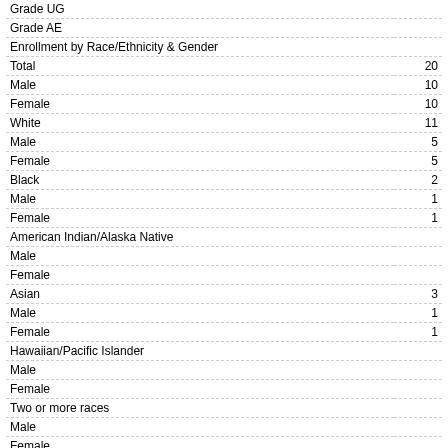| Category | Value |
| --- | --- |
| Grade UG |  |
| Grade AE |  |
| Enrollment by Race/Ethnicity & Gender |  |
| Total | 20… |
| Male | 10… |
| Female | 10… |
| White | 11… |
| Male | 5… |
| Female | 5… |
| Black | 2… |
| Male | 1… |
| Female | 1… |
| American Indian/Alaska Native |  |
| Male |  |
| Female |  |
| Asian | 3… |
| Male | 1… |
| Female | 1… |
| Hawaiian/Pacific Islander |  |
| Male |  |
| Female |  |
| Two or more races |  |
| Male |  |
| Female |  |
| Hispanic | 2… |
| Male | 1… |
| Female | 1… |
10. School District Finances - goto top
| School District Finances | FY 2… |
| --- | --- |